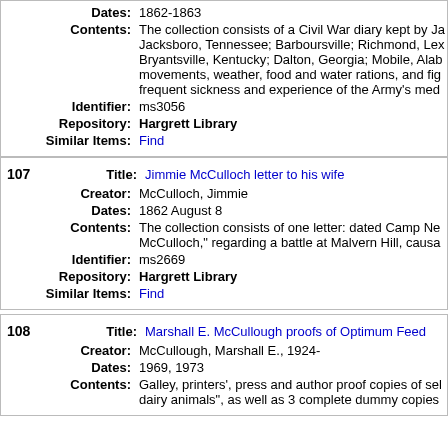| Dates: | 1862-1863 |
| Contents: | The collection consists of a Civil War diary kept by Ja Jacksboro, Tennessee; Barboursville; Richmond, Lex Bryantsville, Kentucky; Dalton, Georgia; Mobile, Alab movements, weather, food and water rations, and fig frequent sickness and experience of the Army's med |
| Identifier: | ms3056 |
| Repository: | Hargrett Library |
| Similar Items: | Find |
| 107 | Title: | Jimmie McCulloch letter to his wife |
| Creator: | McCulloch, Jimmie |
| Dates: | 1862 August 8 |
| Contents: | The collection consists of one letter: dated Camp Ne McCulloch," regarding a battle at Malvern Hill, causa |
| Identifier: | ms2669 |
| Repository: | Hargrett Library |
| Similar Items: | Find |
| 108 | Title: | Marshall E. McCullough proofs of Optimum Feed |
| Creator: | McCullough, Marshall E., 1924- |
| Dates: | 1969, 1973 |
| Contents: | Galley, printers', press and author proof copies of sel dairy animals", as well as 3 complete dummy copies |